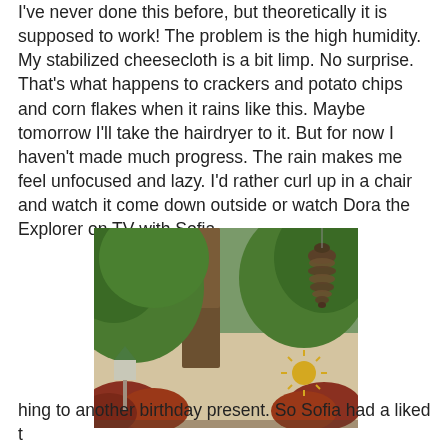I've never done this before, but theoretically it is supposed to work! The problem is the high humidity. My stabilized cheesecloth is a bit limp. No surprise. That's what happens to crackers and potato chips and corn flakes when it rains like this. Maybe tomorrow I'll take the hairdryer to it. But for now I haven't made much progress. The rain makes me feel unfocused and lazy. I'd rather curl up in a chair and watch it come down outside or watch Dora the Explorer on TV with Sofia.
[Figure (photo): Outdoor garden scene showing a large tree trunk, green foliage, a small birdhouse or feeder with a green roof, a decorative sun ornament on a beige stucco wall, red flowering bushes, and a hanging pine cone ornament in the upper right.]
hing to another birthday present. So Sofia had a liked t...